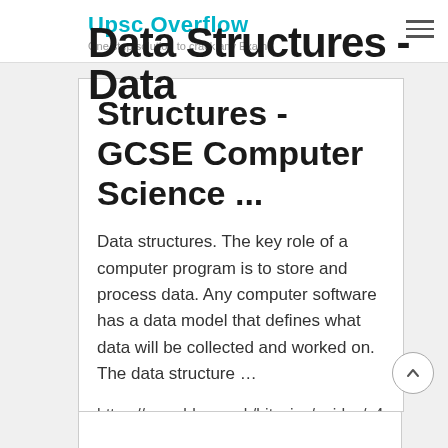Upsc Overflow
One step solution to crack any Exam!!
Data Structures - Data Structures - GCSE Computer Science ...
Data structures. The key role of a computer program is to store and process data. Any computer software has a data model that defines what data will be collected and worked on. The data structure ...
https://www.bbc.co.uk/bitesize/guides/z4tfgj6/revision/1